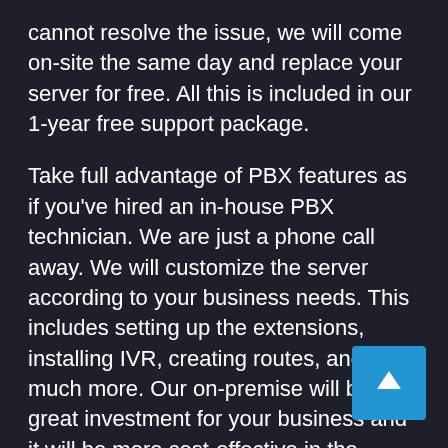cannot resolve the issue, we will come on-site the same day and replace your server for free. All this is included in our 1-year free support package.
Take full advantage of PBX features as if you've hired an in-house PBX technician. We are just a phone call away. We will customize the server according to your business needs. This includes setting up the extensions, installing IVR, creating routes, and much more. Our on-premise will be a great investment for your business and it will be more cost-effective in the longer run. Key benefits of our server include…
[Figure (other): Blue square scroll-to-top button with upward arrow icon, positioned in the bottom-right corner]